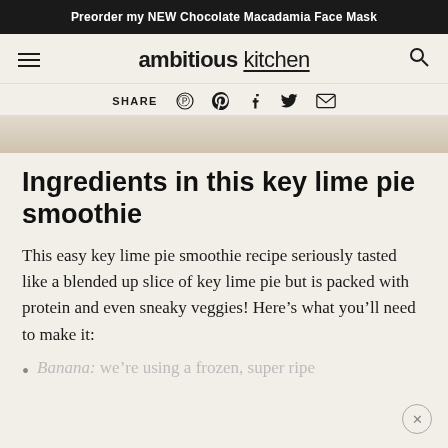Preorder my NEW Chocolate Macadamia Face Mask
ambitious kitchen
SHARE
[Figure (photo): Partial photo strip showing a marble or stone surface, background of a food photo]
Ingredients in this key lime pie smoothie
This easy key lime pie smoothie recipe seriously tasted like a blended up slice of key lime pie but is packed with protein and even sneaky veggies! Here’s what you’ll need to make it:
Banana: we’re using a frozen, super ripe